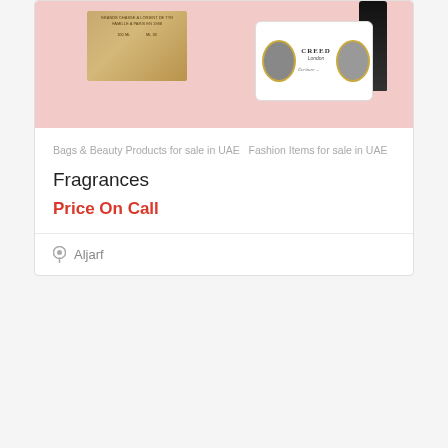[Figure (photo): Product image showing fragrance/perfume items including a gold box and a Creed branded card with portrait medallions, on a pink background]
Bags & Beauty Products for sale in UAE  Fashion Items for sale in UAE
Fragrances
Price On Call
Aljarf